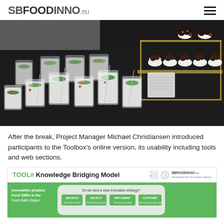SBFOODINNO.eu
[Figure (photo): Table display with multiple glass jars filled with white cream desserts garnished with green mint leaves and red berries, alongside chocolate-covered energy balls in white paper cups arranged on a dark surface with a gold metal display stand.]
After the break, Project Manager Michael Christiansen introduced participants to the Toolbox's online version, its usability including tools and web sections.
[Figure (screenshot): Screenshot of a tool page titled 'TOOL# Knowledge Bridging Model' with SBFOODINNO branding logos, showing a green diagram about innovation phases for Food SMEs with sections: SEARCH, SELECT, IMPLEMENT, CAPTURE and the question 'Do we have a clear innovation strategy?']